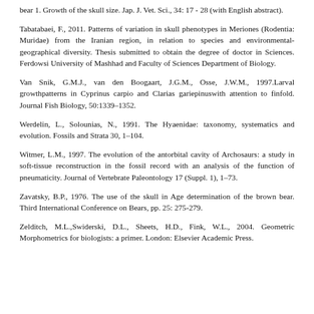bear 1. Growth of the skull size. Jap. J. Vet. Sci., 34: 17 - 28 (with English abstract).
Tabatabaei, F., 2011. Patterns of variation in skull phenotypes in Meriones (Rodentia: Muridae) from the Iranian region, in relation to species and environmental-geographical diversity. Thesis submitted to obtain the degree of doctor in Sciences. Ferdowsi University of Mashhad and Faculty of Sciences Department of Biology.
Van Snik, G.M.J., van den Boogaart, J.G.M., Osse, J.W.M., 1997.Larval growthpatterns in Cyprinus carpio and Clarias gariepinuswith attention to finfold. Journal Fish Biology, 50:1339–1352.
Werdelin, L., Solounias, N., 1991. The Hyaenidae: taxonomy, systematics and evolution. Fossils and Strata 30, 1–104.
Witmer, L.M., 1997. The evolution of the antorbital cavity of Archosaurs: a study in soft-tissue reconstruction in the fossil record with an analysis of the function of pneumaticity. Journal of Vertebrate Paleontology 17 (Suppl. 1), 1–73.
Zavatsky, B.P., 1976. The use of the skull in Age determination of the brown bear. Third International Conference on Bears, pp. 25: 275-279.
Zelditch, M.L.,Swiderski, D.L., Sheets, H.D., Fink, W.L., 2004. Geometric Morphometrics for biologists: a primer. London: Elsevier Academic Press.